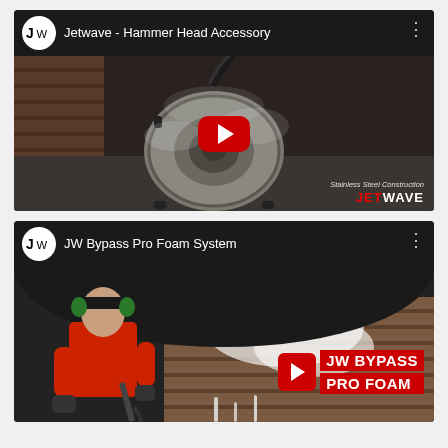[Figure (screenshot): YouTube video thumbnail for 'Jetwave - Hammer Head Accessory' showing a stainless steel surface cleaner attachment on a concrete floor with steam, a red YouTube play button in the center, and 'Stainless Steel Construction' watermark text. JW logo in header.]
[Figure (screenshot): YouTube video thumbnail for 'JW Bypass Pro Foam System' showing a person in a red shirt using a pressure washer on a brick wall with foam, and a red play button overlaid with 'JW BYPASS PRO FOAM' text blocks in red.]